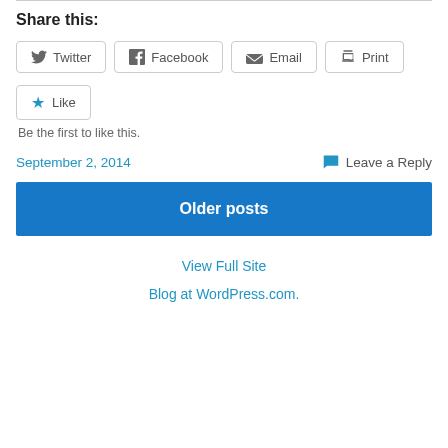Share this:
Twitter | Facebook | Email | Print
Like
Be the first to like this.
September 2, 2014
Leave a Reply
Older posts
View Full Site
Blog at WordPress.com.